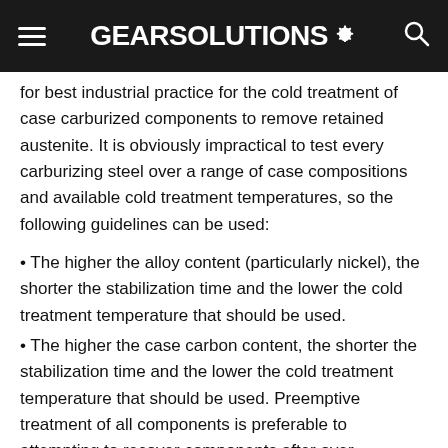GEARSolutions
for best industrial practice for the cold treatment of case carburized components to remove retained austenite. It is obviously impractical to test every carburizing steel over a range of case compositions and available cold treatment temperatures, so the following guidelines can be used:
The higher the alloy content (particularly nickel), the shorter the stabilization time and the lower the cold treatment temperature that should be used.
The higher the case carbon content, the shorter the stabilization time and the lower the cold treatment temperature that should be used. Preemptive treatment of all components is preferable to attempting to recover components after over carburizing is discovered.
The shorter the delay between quenching and cold